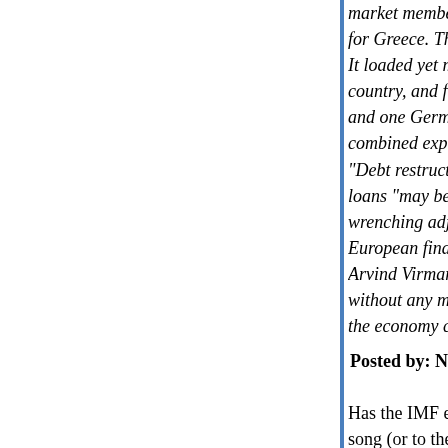market members (and Switzerland) opposed the ... for Greece. They protested that it was intended to... It loaded yet more debt onto the crushed shoulde... country, and further complicated the picture by all... and one German bank – no names please – to o... combined exposure onto EMU taxpayers. "Debt restructuring should have been on the table... loans "may be seen not as a rescue of Greece, w... wrenching adjustment, but as a bailout of Greece... European financial institutions". Arvind Virmani, India's member, was prophetic. "T... without any monetary policy offset is unpreceden... the economy could hardly bear," he said...
Posted by: Nigel | June 23, 2015 at 12:46 AM
Has the IMF ever done anything but steamrolling... song (or to the bribery of the corrupt elites)? I got... always been a tool to friedmanize peoples too we... tearing up the social contract, selling all assets at... most avaricious and unscrupulous privateers/iers... any trace of democracy or balance of powers. The... the removal of all crucifixes, wiping out of all plan...